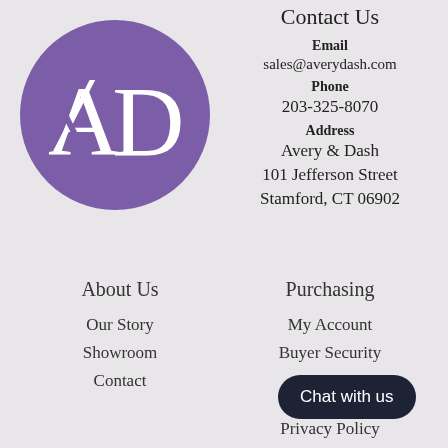[Figure (logo): Avery & Dash circular logo with purple background and white 'AD' monogram letters]
Contact Us
Email
sales@averydash.com
Phone
203-325-8070
Address
Avery & Dash
101 Jefferson Street
Stamford, CT 06902
About Us
Our Story
Showroom
Contact
Purchasing
My Account
Buyer Security
De...
Privacy Policy